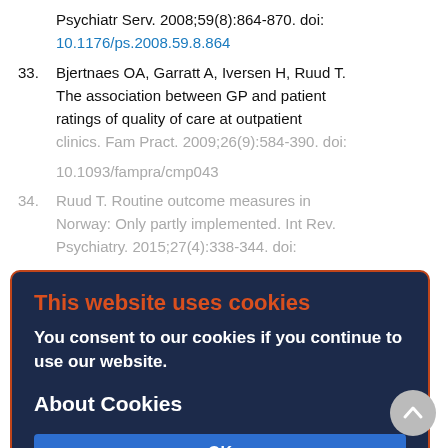Psychiatr Serv. 2008;59(8):864-870. doi: 10.1176/ps.2008.59.8.864
33. Bjertnaes OA, Garratt A, Iversen H, Ruud T. The association between GP and patient ratings of quality of care at outpatient clinics. Fam Pract. 2009;26(9):584-390. doi: 10.1093/fampra/cmp043
34. Ruud T. Routine outcome measures in Norway: Only partly implemented. Int Rev. Psychiatry. 2015;27(4):338-344. doi: 10.3109/09540261.2015.1054268
35. Biringer E, Hartveit M, Sundfor B, Ruud T, Borg M. Continuity of care as experienced by mental health service users – a qualitative study. BMC Health Serv Res. 2017;17(1):763. doi: 10.1186/s12913-017-2719-9
36. Lauveng A, Tveiten S, Ekeland T-J, Ruud T. Same diagnosis, different lives. A qualitative
This website uses cookies
You consent to our cookies if you continue to use our website.
About Cookies
OK